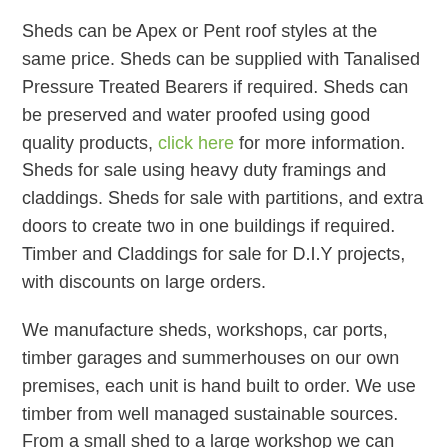Sheds can be Apex or Pent roof styles at the same price. Sheds can be supplied with Tanalised Pressure Treated Bearers if required. Sheds can be preserved and water proofed using good quality products, click here for more information. Sheds for sale using heavy duty framings and claddings. Sheds for sale with partitions, and extra doors to create two in one buildings if required. Timber and Claddings for sale for D.I.Y projects, with discounts on large orders.
We manufacture sheds, workshops, car ports, timber garages and summerhouses on our own premises, each unit is hand built to order. We use timber from well managed sustainable sources. From a small shed to a large workshop we can build to your requirements. We deliver regularly to parts of Tidmarsh and have been offering a reliable service for many years. Our combination buildings offer a variety of uses and can be modified to suit your requirements i.e. office, gym